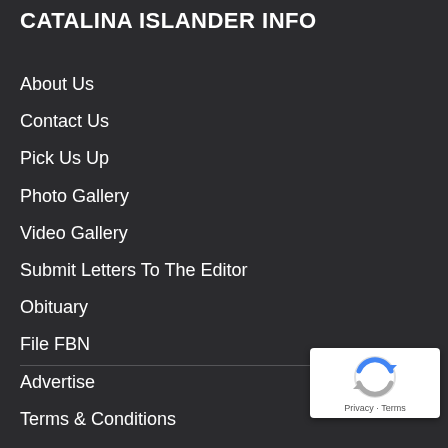CATALINA ISLANDER INFO
About Us
Contact Us
Pick Us Up
Photo Gallery
Video Gallery
Submit Letters To The Editor
Obituary
File FBN
Advertise
Terms & Conditions
[Figure (logo): reCAPTCHA badge with circular arrow logo and 'Privacy - Terms' text]